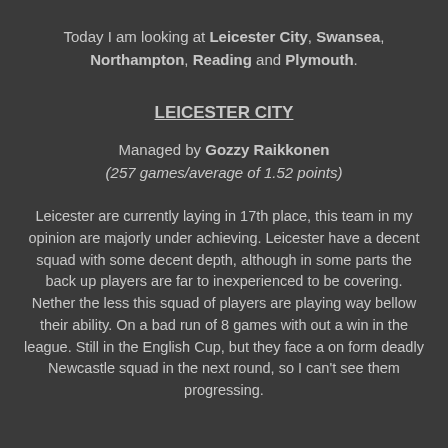Today I am looking at Leicester City, Swansea, Northampton, Reading and Plymouth.
LEICESTER CITY
Managed by Gozzy Raikkonen (257 games/average of 1.52 points)
Leicester are currently laying in 17th place, this team in my opinion are majorly under achieving. Leicester have a decent squad with some decent depth, although in some parts the back up players are far to inexperienced to be covering. Nether the less this squad of players are playing way bellow their ability. On a bad run of 8 games with out a win in the league. Still in the English Cup, but they face a on form deadly Newcastle squad in the next round, so I can't see them progressing.